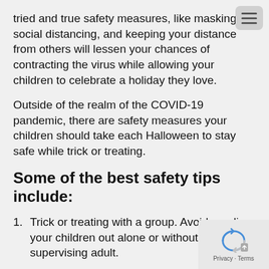tried and true safety measures, like masking, social distancing, and keeping your distance from others will lessen your chances of contracting the virus while allowing your children to celebrate a holiday they love.
Outside of the realm of the COVID-19 pandemic, there are safety measures your children should take each Halloween to stay safe while trick or treating.
Some of the best safety tips include:
Trick or treating with a group. Avoid sending your children out alone or without a supervising adult.
Only trick-or-treat in familiar neighborhoods with well-lit streets.